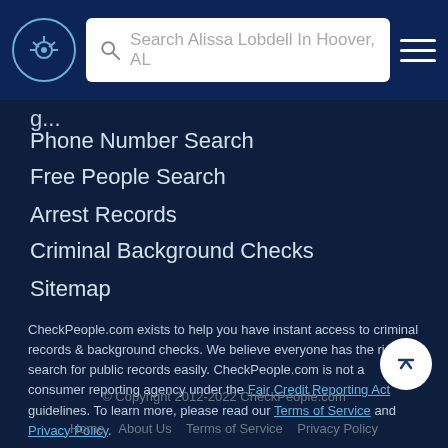Search Alissa Lobdell In Hoover, AL
Phone Number Search
Free People Search
Arrest Records
Criminal Background Checks
Sitemap
CheckPeople.com exists to help you have instant access to criminal records & background checks. We believe everyone has the right to search for public records easily. CheckPeople.com is not a consumer reporting agency under the Fair Credit Reporting Act guidelines. To learn more, please read our Terms of Service and Privacy Policy.
© Copyright 2012-2022 CheckPeople.com
Home   About Us   Terms of Service   Privacy Policy